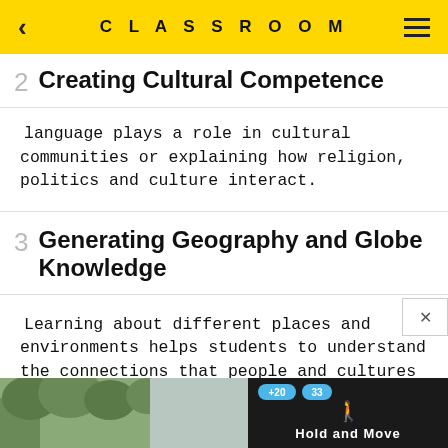CLASSROOM
2  Creating Cultural Competence
language plays a role in cultural communities or explaining how religion, politics and culture interact.
3  Generating Geography and Globe Knowledge
Learning about different places and environments helps students to understand the connections that people and cultures
[Figure (screenshot): Bottom portion of screen showing a dark overlay with 'Hold and Move' label in blue text, with trees in background on left and right sides. Two blue pill badges showing '+20' and '33' are visible at top of overlay.]